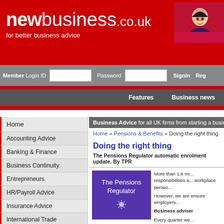newbusiness.co.uk — for better business advice
[Figure (screenshot): Website header with red background, newbusiness.co.uk logo in white, tagline 'for better business advice', and a photo of a smiling woman]
Member Login ID [input] Password [input] Signin Reg
Features   Business news
Home
Accounting Advice
Banking & Finance
Business Continuity
Entrepreneurs
HR/Payroll Advice
Insurance Advice
International Trade
Internet Advice
I.T. Advice
Business Advice for all UK firms from starting a business t...
Home » Pensions & Benefits » Doing the right thing
Doing the right thing
The Pensions Regulator automatic enrolment update. By TPR...
[Figure (logo): The Pensions Regulator purple logo with sunburst icon]
More than 1.6 mi... responsibilities a... workplace pensio... However, we are ... ensure employers... Business adviser... Every quarter we...